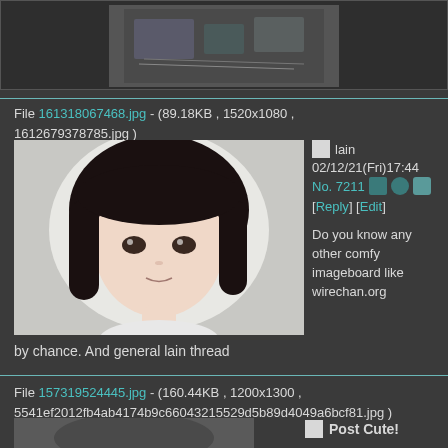[Figure (photo): Partial view of a dark-themed imageboard post showing a previous image (electronics/cables scene)]
File 161318067468.jpg - (89.18KB , 1520x1080 , 1612679378785.jpg )
[Figure (illustration): Anime character Lain with short dark hair, close-up face render, 3D style]
lain
02/12/21(Fri)17:44
No. 7211
[Reply] [Edit]
Do you know any other comfy imageboard like wirechan.org
by chance. And general lain thread
File 157319524445.jpg - (160.44KB , 1200x1300 , 5541ef2012fb4ab4174b9c66043215529d5b89d4049a6bcf81.jpg )
Post Cute!